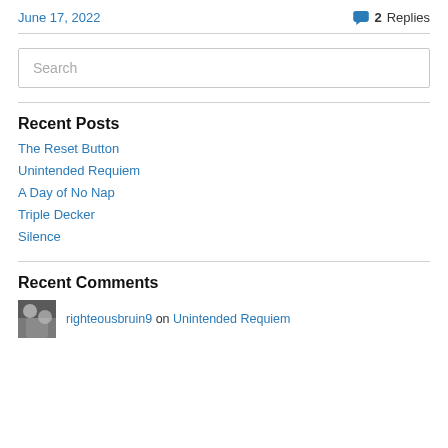June 17, 2022
2 Replies
Search
Recent Posts
The Reset Button
Unintended Requiem
A Day of No Nap
Triple Decker
Silence
Recent Comments
righteousbruin9 on Unintended Requiem